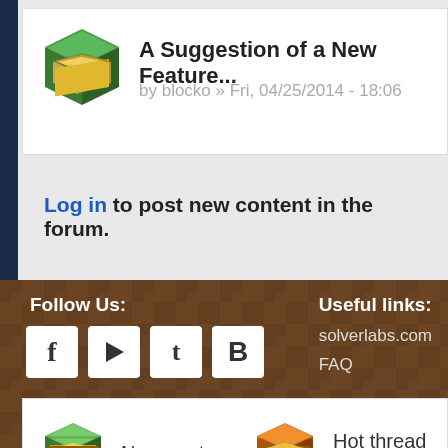A Suggestion of a New Feature... by blocko » Fri, 04/25/2014 - 18:06
Log in to post new content in the forum.
[Figure (infographic): Forum post type legend: New posts icon (green block), No new post icon (green block with brown), Hot thread with new posts icon (orange block), Hot thread with no new posts icon (orange block with brown)]
Follow Us: [Facebook] [Play] [Twitter] [Blog] | Useful links: solverlabs.com FAQ